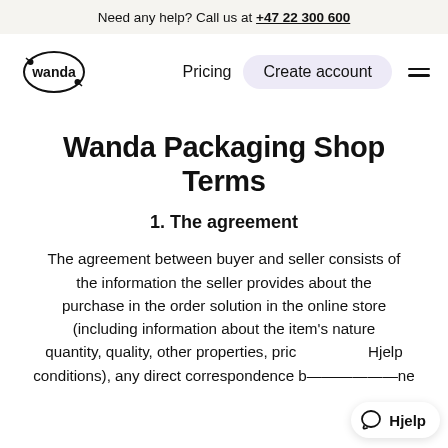Need any help? Call us at +47 22 300 600
[Figure (logo): Wanda logo — circular outline with text 'wanda' inside, decorative dots]
Pricing
Create account
Wanda Packaging Shop Terms
1. The agreement
The agreement between buyer and seller consists of the information the seller provides about the purchase in the order solution in the online store (including information about the item's nature quantity, quality, other properties, pric conditions), any direct correspondence b... ...ne